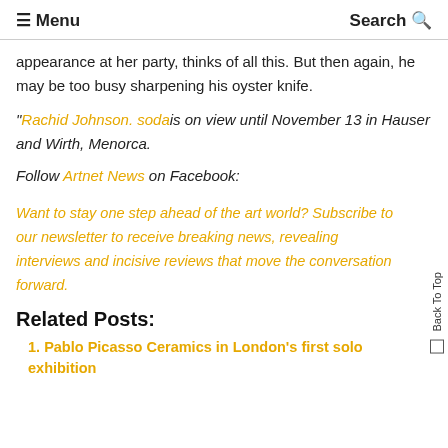☰ Menu   Search 🔍
appearance at her party, thinks of all this. But then again, he may be too busy sharpening his oyster knife.
"Rachid Johnson. soda is on view until November 13 in Hauser and Wirth, Menorca.
Follow Artnet News on Facebook:
Want to stay one step ahead of the art world? Subscribe to our newsletter to receive breaking news, revealing interviews and incisive reviews that move the conversation forward.
Related Posts:
Pablo Picasso Ceramics in London's first solo exhibition